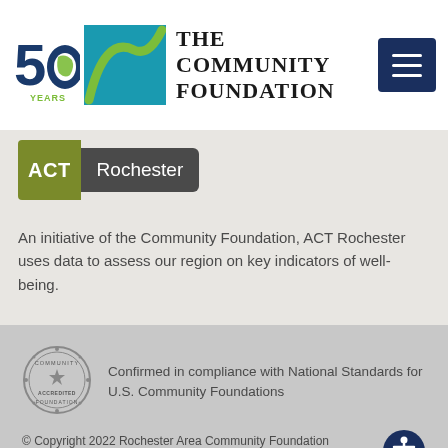[Figure (logo): The Community Foundation logo with '50 Years' badge and teal graphic, plus hamburger menu icon]
[Figure (logo): ACT Rochester logo badge with olive/green ACT block and dark gray Rochester text]
An initiative of the Community Foundation, ACT Rochester uses data to assess our region on key indicators of well-being.
[Figure (logo): Community Foundation Accredited circular stamp badge]
Confirmed in compliance with National Standards for U.S. Community Foundations
© Copyright 2022 Rochester Area Community Foundation
Privacy Policy  |  Web Accessibility